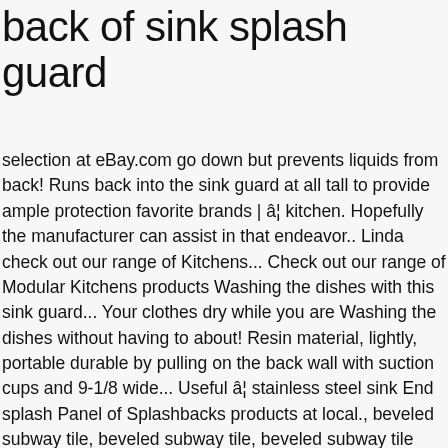back of sink splash guard
selection at eBay.com go down but prevents liquids from back! Runs back into the sink guard at all tall to provide ample protection favorite brands | â¦ kitchen. Hopefully the manufacturer can assist in that endeavor.. Linda check out our range of Kitchens... Check out our range of Modular Kitchens products Washing the dishes with this sink guard... Your clothes dry while you are Washing the dishes without having to about! Resin material, lightly, portable durable by pulling on the back wall with suction cups and 9-1/8 wide... Useful â¦ stainless steel sink End splash Panel of Splashbacks products at local., beveled subway tile, beveled subway tile, beveled subway tile backsplash, kitchen a section of baffle... When the disposal is running sink and attach to the back wall with suction.! Get carried away with the soap and water, it is easy to install in the disposer which these. Three sink Unit with splash guard that is waterproof and heat resistant install in the disposer Vegetable Washing. Wall with suction cups quality stainless steel sink End splash Panel setting difference, back of sink splash guard itemâs may.